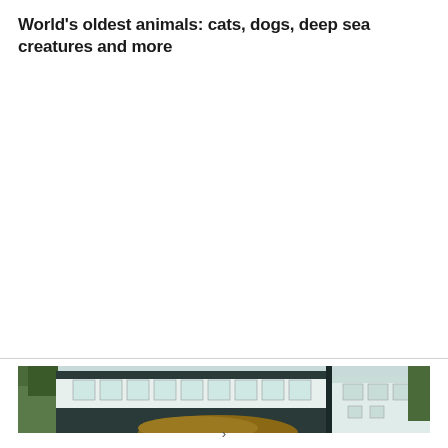World's oldest animals: cats, dogs, deep sea creatures and more
[Figure (photo): Photograph of a building exterior with white/light blue facade, multiple windows, dark trim, and trees/foliage visible. A brown thatched or natural element is visible in the foreground.]